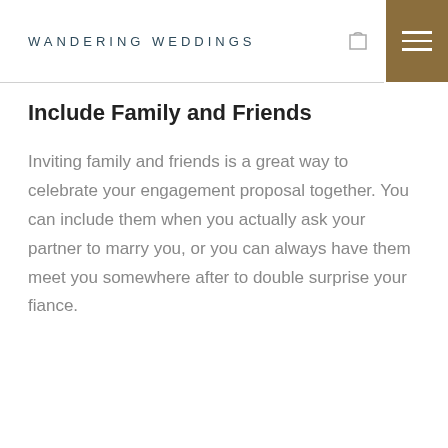WANDERING WEDDINGS
Include Family and Friends
Inviting family and friends is a great way to celebrate your engagement proposal together. You can include them when you actually ask your partner to marry you, or you can always have them meet you somewhere after to double surprise your fiance.